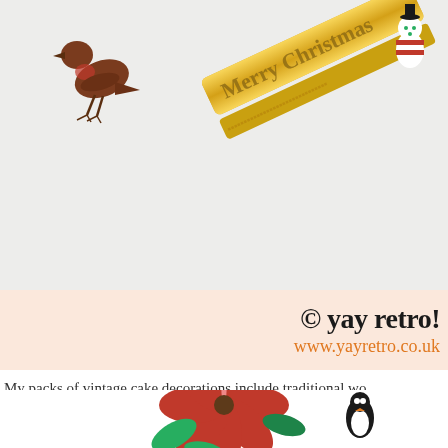[Figure (photo): Top photo showing vintage Christmas cake decorations: a brown plastic robin bird and a gold metallic 'Merry Christmas' text decoration, and a small colorful candy-striped figure, on a light grey/white background.]
© yay retro!
www.yayretro.co.uk
My packs of vintage cake decorations include traditional wo... robins to funky skateboarding snowmen and adorable pengu...
[Figure (photo): Bottom photo showing a red poinsettia flower with green leaves and what appears to be a small penguin figurine, on a white background.]